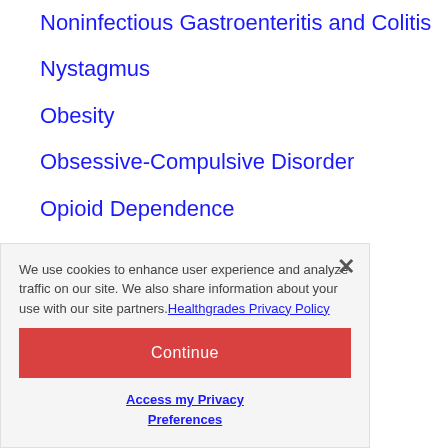Noninfectious Gastroenteritis and Colitis
Nystagmus
Obesity
Obsessive-Compulsive Disorder
Opioid Dependence
Optic Neuritis
Oral Cancer
Osgood Schlatter Disease
Osteoarthritis of Hip and Thigh
We use cookies to enhance user experience and analyze traffic on our site. We also share information about your use with our site partners. Healthgrades Privacy Policy
Continue
Access my Privacy Preferences